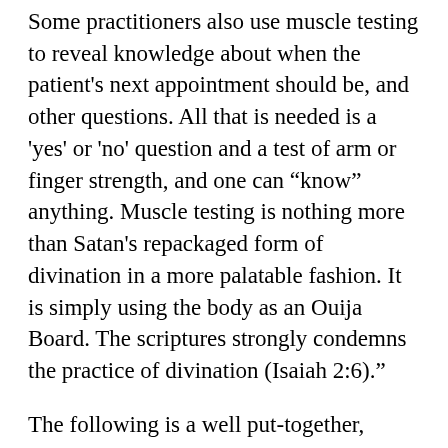Some practitioners also use muscle testing to reveal knowledge about when the patient’s next appointment should be, and other questions. All that is needed is a ‘yes’ or ‘no’ question and a test of arm or finger strength, and one can “know” anything. Muscle testing is nothing more than Satan’s repackaged form of divination in a more palatable fashion. It is simply using the body as an Ouija Board. The scriptures strongly condemns the practice of divination (Isaiah 2:6).”
The following is a well put-together, thorough explanation, and testimony of a Christian who was involved in Muscle Testing and how